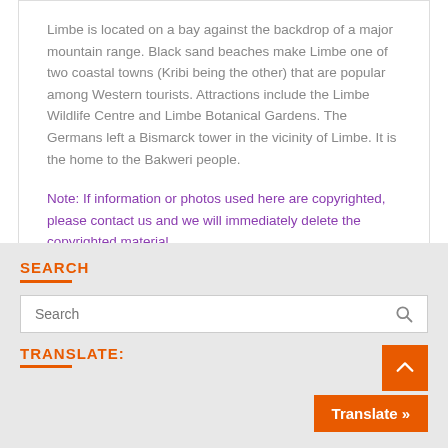Limbe is located on a bay against the backdrop of a major mountain range. Black sand beaches make Limbe one of two coastal towns (Kribi being the other) that are popular among Western tourists. Attractions include the Limbe Wildlife Centre and Limbe Botanical Gardens. The Germans left a Bismarck tower in the vicinity of Limbe. It is the home to the Bakweri people.
Note: If information or photos used here are copyrighted, please contact us and we will immediately delete the copyrighted material.
SEARCH
Search
TRANSLATE: